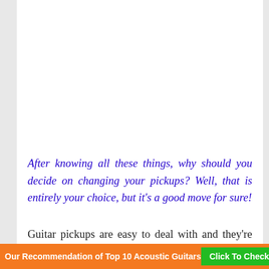After knowing all these things, why should you decide on changing your pickups? Well, that is entirely your choice, but it's a good move for sure!
Guitar pickups are easy to deal with and they're easy to use. Changing your pickup is really easy,
Our Recommendation of Top 10 Acoustic Guitars   Click To Check